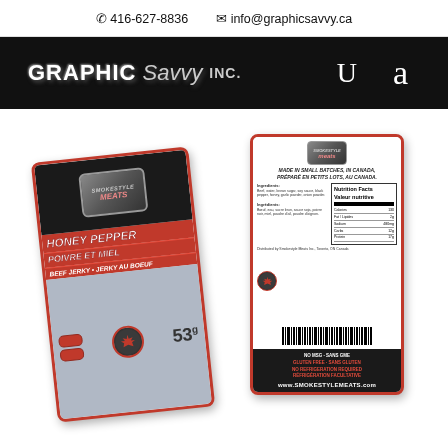📞 416-627-8836    ✉ info@graphicsavvy.ca
[Figure (logo): Graphic Savvy Inc. logo on black navigation bar with U and a icons]
[Figure (photo): Two Smokestyle Meats beef jerky packages - front package shows Honey Pepper / Poivre Et Miel flavor with red and dark packaging, back package shows nutrition facts, ingredients, barcode, and www.SMOKESTYLEMEATS.com website]